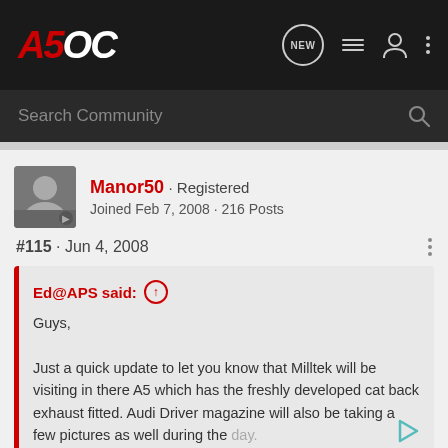A5OC · NEW · [list icon] · [user icon] · [more icon]
Search Community
Manor50 · Registered
Joined Feb 7, 2008 · 216 Posts
#115 · Jun 4, 2008
Ed@APS said: ↑
Guys,

Just a quick update to let you know that Milltek will be visiting in there A5 which has the freshly developed cat back exhaust fitted. Audi Driver magazine will also be taking a few pictures as well during the day.
Click to expand...